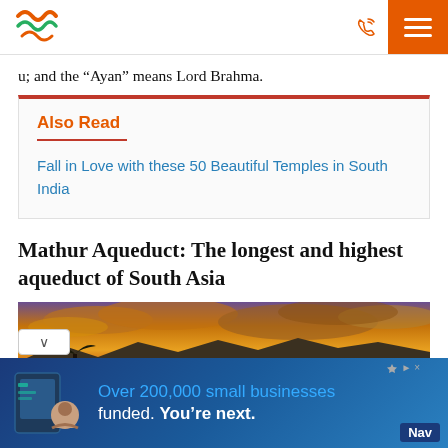Navigation bar with logo, phone icon, and menu button
u; and the “Ayan” means Lord Brahma.
Also Read
Fall in Love with these 50 Beautiful Temples in South India
Mathur Aqueduct: The longest and highest aqueduct of South Asia
[Figure (photo): Scenic landscape photo with dramatic orange and golden sunset sky, hills/mountains in background, palm tree silhouette]
[Figure (other): Advertisement banner: Over 200,000 small businesses funded. You’re next. Nav]